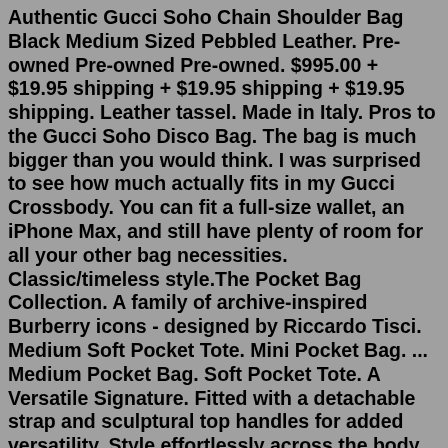Authentic Gucci Soho Chain Shoulder Bag Black Medium Sized Pebbled Leather. Pre-owned Pre-owned Pre-owned. $995.00 + $19.95 shipping + $19.95 shipping + $19.95 shipping. Leather tassel. Made in Italy. Pros to the Gucci Soho Disco Bag. The bag is much bigger than you would think. I was surprised to see how much actually fits in my Gucci Crossbody. You can fit a full-size wallet, an iPhone Max, and still have plenty of room for all your other bag necessities. Classic/timeless style.The Pocket Bag Collection. A family of archive-inspired Burberry icons - designed by Riccardo Tisci. Medium Soft Pocket Tote. Mini Pocket Bag. ... Medium Pocket Bag. Soft Pocket Tote. A Versatile Signature. Fitted with a detachable strap and sculptural top handles for added versatility. Style effortlessly across the body or carry as a tote.Luxury pre-owned bags are making a record in the buying and selling industry in the world. Authentic Gucci soho hobo medium in tangerine, pre loved in Good condition has minor scratches on side exterior, interior is clean comes with dustbag only. They